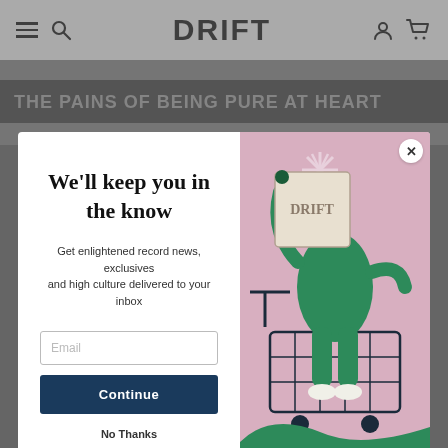DRIFT
THE PAINS OF BEING PURE AT HEART
[Figure (screenshot): Website screenshot showing Drift magazine homepage with a popup newsletter signup modal. Left panel of modal has headline 'We'll keep you in the know', subtext 'Get enlightened record news, exclusives and high culture delivered to your inbox', an email input field, a 'Continue' button, and 'No Thanks' link. Right panel shows an illustration of a green figure in a shopping cart holding a DRIFT sign, with musical notes, on a pink background. A close (X) button is in the top right of the modal. Behind the modal is a greyed-out article header reading 'THE PAINS OF BEING PURE AT HEART' and a dark silhouetted photo.]
We'll keep you in the know
Get enlightened record news, exclusives and high culture delivered to your inbox
Continue
No Thanks